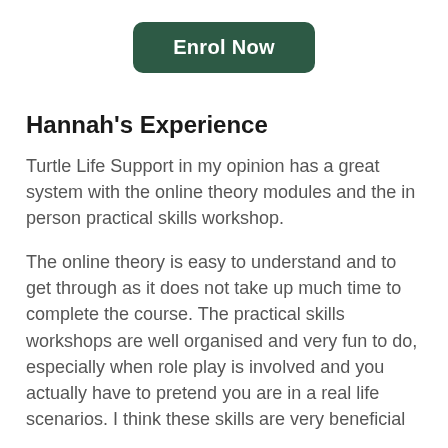[Figure (other): Green 'Enrol Now' button]
Hannah's Experience
Turtle Life Support in my opinion has a great system with the online theory modules and the in person practical skills workshop.
The online theory is easy to understand and to get through as it does not take up much time to complete the course. The practical skills workshops are well organised and very fun to do, especially when role play is involved and you actually have to pretend you are in a real life scenarios. I think these skills are very beneficial